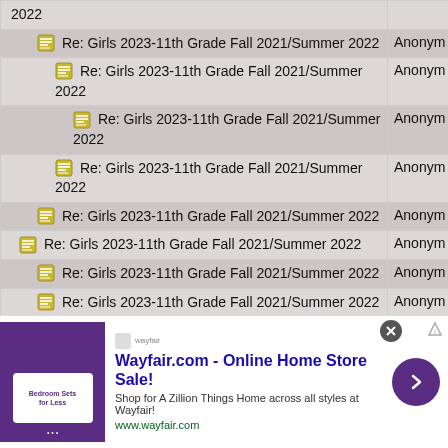| Topic | Author |
| --- | --- |
| 2022 |  |
| [icon] Re: Girls 2023-11th Grade Fall 2021/Summer 2022 | Anonym |
| [icon] Re: Girls 2023-11th Grade Fall 2021/Summer 2022 | Anonym |
| [icon] Re: Girls 2023-11th Grade Fall 2021/Summer 2022 | Anonym |
| [icon] Re: Girls 2023-11th Grade Fall 2021/Summer 2022 | Anonym |
| [icon] Re: Girls 2023-11th Grade Fall 2021/Summer 2022 | Anonym |
| [icon] Re: Girls 2023-11th Grade Fall 2021/Summer 2022 | Anonym |
| [icon] Re: Girls 2023-11th Grade Fall 2021/Summer 2022 | Anonym |
| [icon] Re: Girls 2023-11th Grade Fall 2021/Summer 2022 | Anonym |
[Figure (other): Wayfair.com advertisement banner - Online Home Store Sale]